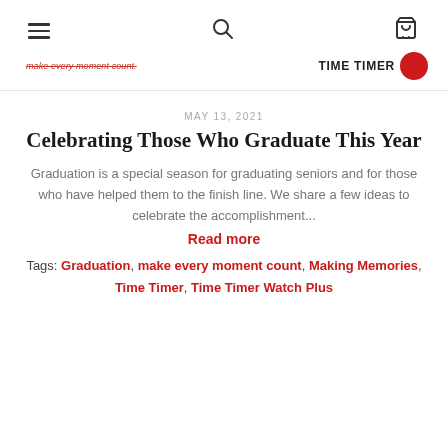navigation bar with hamburger menu, search icon, and cart icon
[Figure (logo): Website logo bar showing tagline 'make every moment count.' on left in red italic strikethrough, and 'TIME TIMER' brand name with red circle on right]
MAY 13, 2021
Celebrating Those Who Graduate This Year
Graduation is a special season for graduating seniors and for those who have helped them to the finish line. We share a few ideas to celebrate the accomplishment...
Read more
Tags: Graduation, make every moment count, Making Memories, Time Timer, Time Timer Watch Plus